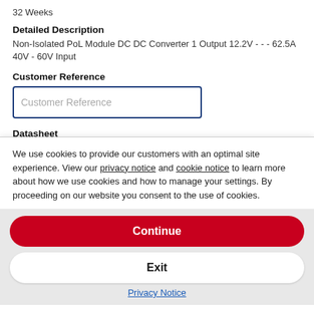32 Weeks
Detailed Description
Non-Isolated PoL Module DC DC Converter 1 Output 12.2V - - - 62.5A 40V - 60V Input
Customer Reference
Customer Reference (input placeholder)
Datasheet
We use cookies to provide our customers with an optimal site experience. View our privacy notice and cookie notice to learn more about how we use cookies and how to manage your settings. By proceeding on our website you consent to the use of cookies.
Continue
Exit
Privacy Notice